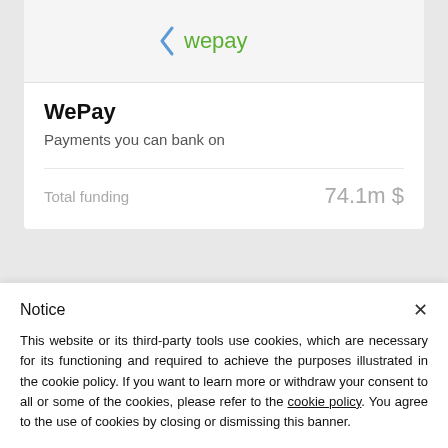[Figure (logo): WePay logo: blue triangle/arrow chevron icon followed by 'wepay' in green lowercase text]
WePay
Payments you can bank on
Total funding    74.1m $
[Figure (logo): Trustly logo: green padlock icon followed by 'Trustly' in black bold text]
Notice
This website or its third-party tools use cookies, which are necessary for its functioning and required to achieve the purposes illustrated in the cookie policy. If you want to learn more or withdraw your consent to all or some of the cookies, please refer to the cookie policy. You agree to the use of cookies by closing or dismissing this banner.